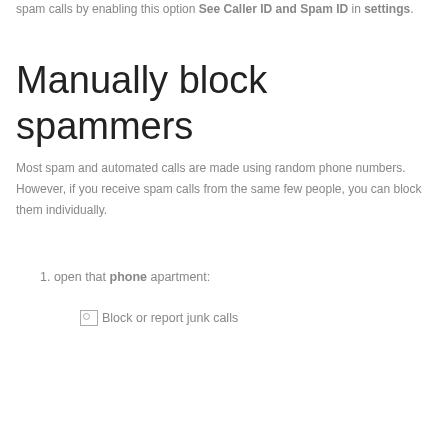spam calls by enabling this option See Caller ID and Spam ID in settings.
Manually block spammers
Most spam and automated calls are made using random phone numbers. However, if you receive spam calls from the same few people, you can block them individually.
1. open that phone apartment:
[Figure (other): Broken image placeholder with alt text 'Block or report junk calls']